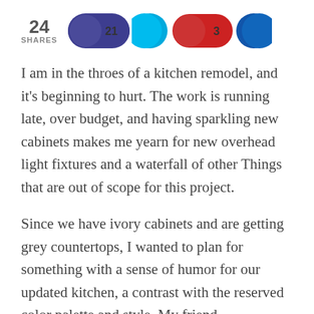[Figure (infographic): Social share bar showing 24 SHARES with circular social media share buttons: dark blue/purple button with count 21, cyan/light blue button, red button with count 3, and dark blue button]
I am in the throes of a kitchen remodel, and it's beginning to hurt. The work is running late, over budget, and having sparkling new cabinets makes me yearn for new overhead light fixtures and a waterfall of other Things that are out of scope for this project.
Since we have ivory cabinets and are getting grey countertops, I wanted to plan for something with a sense of humor for our updated kitchen, a contrast with the reserved color palette and style. My friend